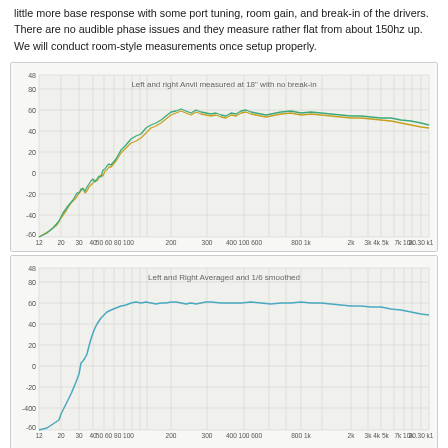little more base response with some port tuning, room gain, and break-in of the drivers. There are no audible phase issues and they measure rather flat from about 150hz up. We will conduct room-style measurements once setup properly.
[Figure (continuous-plot): Frequency response plot showing left (green/teal) and right (orange/yellow) Anvil speaker measurements at 18 inches with no break-in. Two overlapping lines rise from around -60 dB at low frequencies to about 65-70 dB in the midrange and high frequencies. X-axis: frequency from ~12 Hz to 20-30 kHz. Y-axis: roughly -60 to 80 dB.]
[Figure (continuous-plot): Frequency response plot showing averaged left and right Anvil speaker measurement with 1/6 octave smoothing. Single blue/teal line rises from about -40 dB at low frequencies to about 65-70 dB in the midrange, then gently slopes down. X-axis: frequency from ~12 Hz to 20-30 kHz. Y-axis: roughly -60 to 80 dB.]